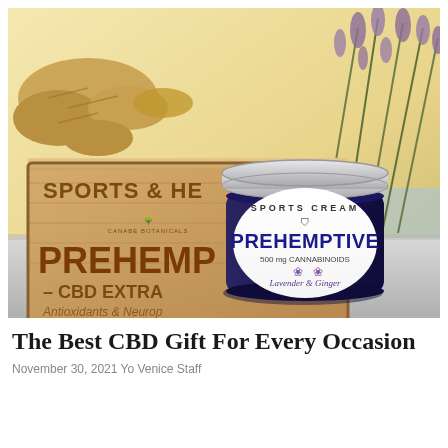[Figure (photo): Product photo of Prehemptive CBD Sports Cream jar (500mg cannabinoids, Lavender & Ginger) by Canabe Botanicals, placed in front of a wooden crate labeled 'Sports & Health - CBD Extra - Antioxidants & Neuroprotection', with ginger root and dried lavender in the background.]
The Best CBD Gift For Every Occasion
November 30, 2021 Yo Venice Staff